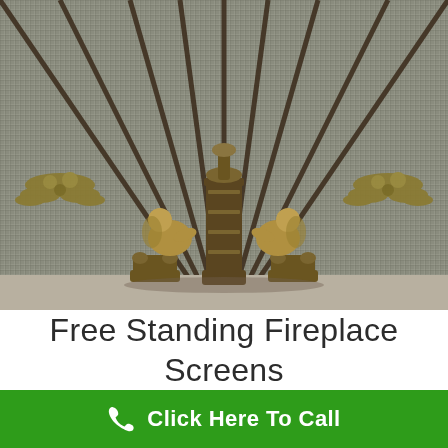[Figure (photo): Close-up photo of an ornate bronze/gold fireplace screen with cherub/angel figurines at the base and fan-shaped mesh screen with radiating metal spokes. The figurines are classical in style with detailed craftsmanship.]
Free Standing Fireplace Screens
Click Here To Call